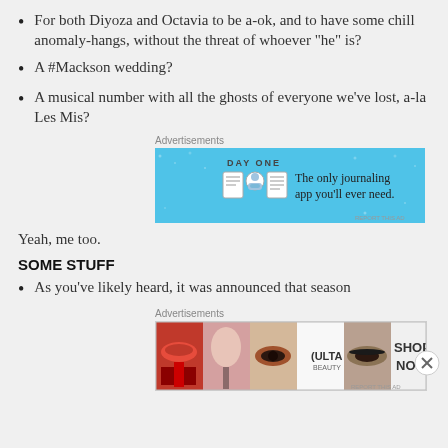For both Diyoza and Octavia to be a-ok, and to have some chill anomaly-hangs, without the threat of whoever “he” is?
A #Mackson wedding?
A musical number with all the ghosts of everyone we’ve lost, a-la Les Mis?
[Figure (screenshot): DAY ONE journaling app advertisement on blue background with icons and slogan 'The only journaling app you'll ever need.']
Yeah, me too.
SOME STUFF
As you’ve likely heard, it was announced that season
[Figure (screenshot): ULTA beauty advertisement showing makeup product photos and 'SHOP NOW' text]